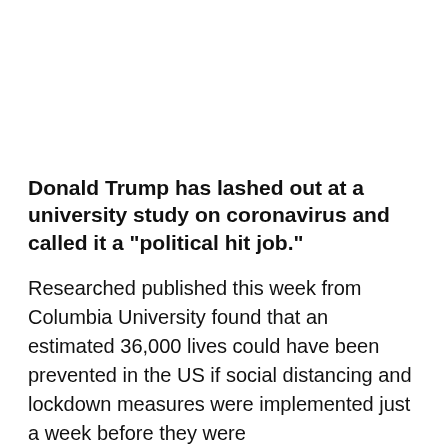Donald Trump has lashed out at a university study on coronavirus and called it a "political hit job."
Researched published this week from Columbia University found that an estimated 36,000 lives could have been prevented in the US if social distancing and lockdown measures were implemented just a week before they were